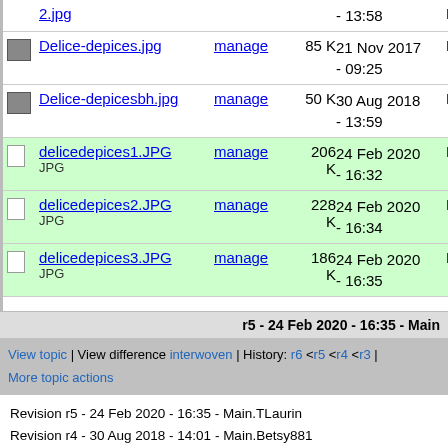| icon | filename | manage | size | date | extra |
| --- | --- | --- | --- | --- | --- |
| [img] | 2.jpg (link) | – | – | – 13:58 | M |
| [img] | Delice-depices.jpg | manage | 85 K | 21 Nov 2017 - 09:25 | M |
| [img] | Delice-depicesbh.jpg | manage | 50 K | 30 Aug 2018 - 13:59 | M |
| [doc] | delicedepices1.JPG | manage | 206 K | 24 Feb 2020 - 16:32 | M |
| [doc] | delicedepices2.JPG | manage | 228 K | 24 Feb 2020 - 16:34 | M |
| [doc] | delicedepices3.JPG | manage | 186 K | 24 Feb 2020 - 16:35 | M |
r5 - 24 Feb 2020 - 16:35 - Main
View topic | View difference interwoven | History: r6 <r5 <r4 <r3 | More topic actions
Revision r5 - 24 Feb 2020 - 16:35 - Main.TLaurin
Revision r4 - 30 Aug 2018 - 14:01 - Main.Betsy881
Copyright © by the contributing authors. All material on this collaboration platform is the